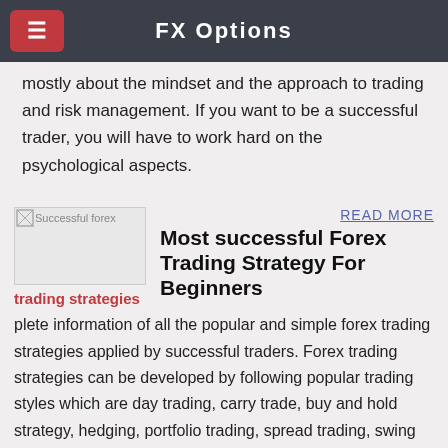FX Options
mostly about the mindset and the approach to trading and risk management. If you want to be a successful trader, you will have to work hard on the psychological aspects.
[Figure (screenshot): Broken image placeholder for 'Successful forex trading strategies']
READ MORE
Successful forex trading strategies
Most successful Forex Trading Strategy For Beginners
plete information of all the popular and simple forex trading strategies applied by successful traders. Forex trading strategies can be developed by following popular trading styles which are day trad-ing, carry trade, buy and hold strategy, hedging, portfolio trading, spread trading, swing trading,
[Figure (screenshot): Candlestick forex chart image showing price movements with red and green candles]
READ MORE
BEST FOREX TRADING STRATEGIES - THE GUIDE TO